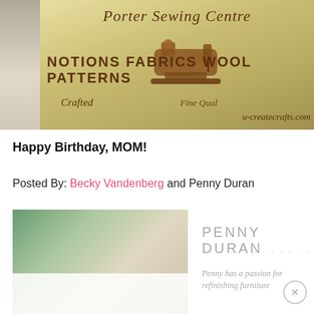[Figure (photo): Photo of two people holding a large wooden engraved sign for Porter Sewing Centre showing a sewing machine graphic and text: NOTIONS FABRICS WOOL PATTERNS, u-createcrafts.com]
Happy Birthday, MOM!
Posted By: Becky Vandenberg and Penny Duran
[Figure (photo): Portrait photo of a woman with light blonde/gray hair (Penny Duran)]
PENNY DURAN
Penny has a passion for refinishing furniture